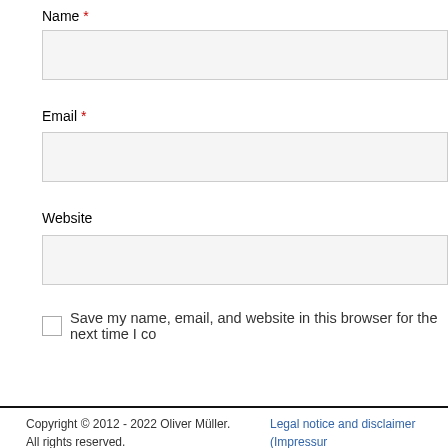Name *
Email *
Website
Save my name, email, and website in this browser for the next time I co
Post Comment
Copyright © 2012 - 2022 Oliver Müller. All rights reserved.
Legal notice and disclaimer (Impressu... Privacy Policy
Don't Panic! – It's just IT.  |  Privacy Policy